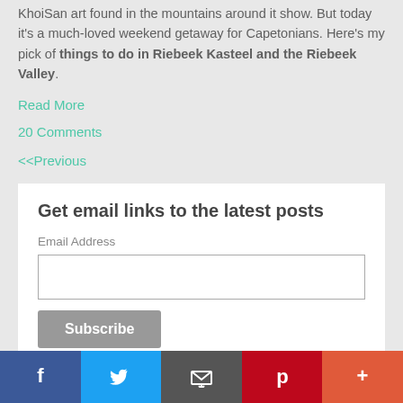KhoiSan art found in the mountains around it show. But today it's a much-loved weekend getaway for Capetonians. Here's my pick of things to do in Riebeek Kasteel and the Riebeek Valley.
Read More
20 Comments
<<Previous
Get email links to the latest posts
Email Address
Subscribe